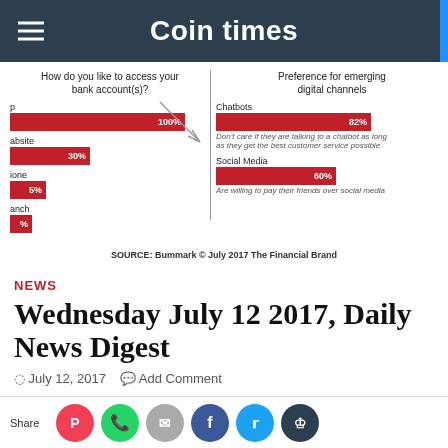Coin times
[Figure (bar-chart): Two-panel infographic. Left: horizontal bar chart with bars for 'p' (100%), 'absite' (30%), 'ione' (5%), 'anch' (~3%). Right: Chatbots 82%, Social Media 60%.]
SOURCE: Bummark © July 2017 The Financial Brand
NEWS
Wednesday July 12 2017, Daily News Digest
July 12, 2017   Add Comment
News Comments
Today's main news: dv01 partners with Upgrade. U.S. lawmakers ay to stop sale of Chicago Stock exchange to Chinese buyers. PayPal